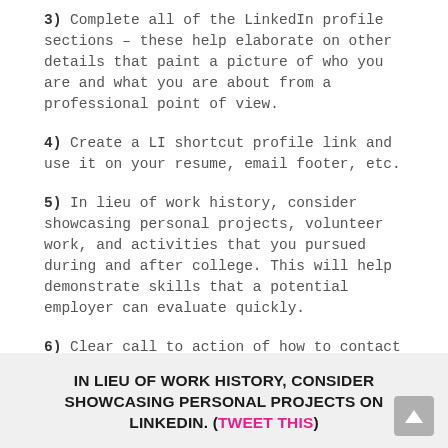3) Complete all of the LinkedIn profile sections – these help elaborate on other details that paint a picture of who you are and what you are about from a professional point of view.
4) Create a LI shortcut profile link and use it on your resume, email footer, etc.
5) In lieu of work history, consider showcasing personal projects, volunteer work, and activities that you pursued during and after college. This will help demonstrate skills that a potential employer can evaluate quickly.
6) Clear call to action of how to contact you.
IN LIEU OF WORK HISTORY, CONSIDER SHOWCASING PERSONAL PROJECTS ON LINKEDIN. (TWEET THIS)